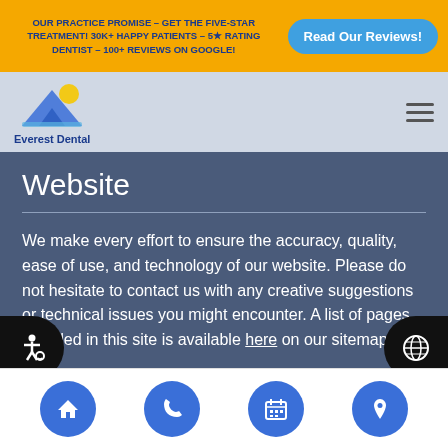OUR PRACTICE PROMISE – GET THE FIVE-STAR TREATMENT! 30K+ HAPPY PATIENTS – 5☆ RATING DENTIST – 100+ REVIEWS ON GOOGLE!   Read Our Reviews!
[Figure (logo): Everest Dental logo with mountain and sun graphic]
Website
We make every effort to ensure the accuracy, quality, ease of use, and technology of our website. Please do not hesitate to contact us with any creative suggestions or technical issues you might encounter. A list of pages included in this site is available here on our sitemap.
How to reach us